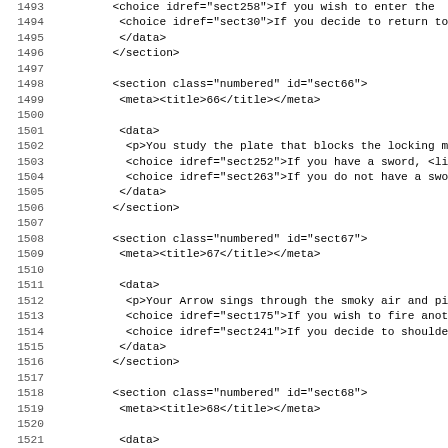Code listing showing XML sections with line numbers 1493-1524+
1493   <choice idref="sect258">If you wish to enter the
1494    <choice idref="sect30">If you decide to return to
1495    </data>
1496   </section>
1497
1498   <section class="numbered" id="sect66">
1499    <meta><title>66</title></meta>
1500
1501    <data>
1502     <p>You study the plate that blocks the locking me
1503     <choice idref="sect252">If you have a sword, <li
1504     <choice idref="sect263">If you do not have a swor
1505    </data>
1506   </section>
1507
1508   <section class="numbered" id="sect67">
1509    <meta><title>67</title></meta>
1510
1511    <data>
1512     <p>Your Arrow sings through the smoky air and pie
1513     <choice idref="sect175">If you wish to fire anoth
1514     <choice idref="sect241">If you decide to shoulder
1515    </data>
1516   </section>
1517
1518   <section class="numbered" id="sect68">
1519    <meta><title>68</title></meta>
1520
1521    <data>
1522     <p>The sword itself appears plain and unremarkabl
1523     <choice idref="sect124">If you have the Magnakai
1524     <choice idref="sect182">If you have a Rope and wi
1525     <choice idref="sect???">(If you wish to ...)